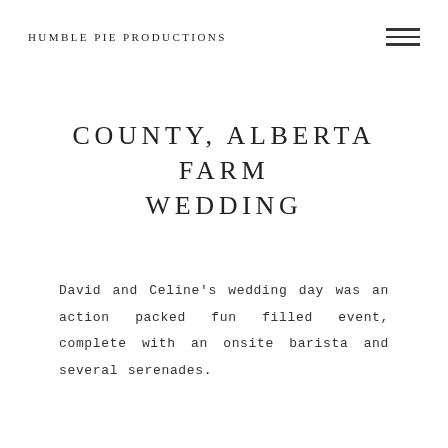HUMBLE PIE PRODUCTIONS
COUNTY, ALBERTA FARM WEDDING
David and Celine's wedding day was an action packed fun filled event, complete with an onsite barista and several serenades.